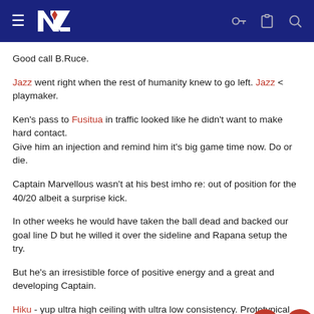NZ sports forum header navigation
Good call B.Ruce.
Jazz went right when the rest of humanity knew to go left. Jazz < playmaker.
Ken's pass to Fusitua in traffic looked like he didn't want to make hard contact.
Give him an injection and remind him it's big game time now. Do or die.
Captain Marvellous wasn't at his best imho re: out of position for the 40/20 albeit a surprise kick.
In other weeks he would have taken the ball dead and backed our goal line D but he willed it over the sideline and Rapana setup the try.
But he's an irresistible force of positive energy and a great and developing Captain.
Hiku - yup ultra high ceiling with ultra low consistency. Prototypical ...